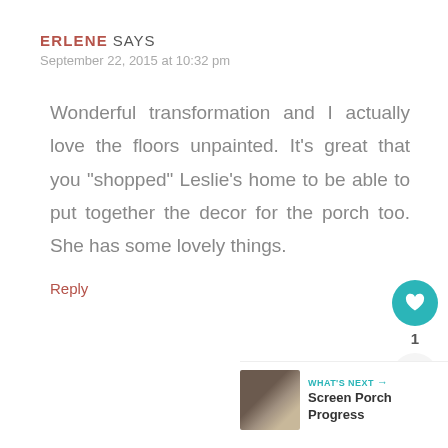ERLENE SAYS
September 22, 2015 at 10:32 pm
Wonderful transformation and I actually love the floors unpainted. It’s great that you “shopped” Leslie’s home to be able to put together the decor for the porch too. She has some lovely things.
Reply
[Figure (infographic): Like widget with heart icon showing count of 1, and share button below]
[Figure (infographic): What's Next widget with thumbnail image and text 'Screen Porch Progress']